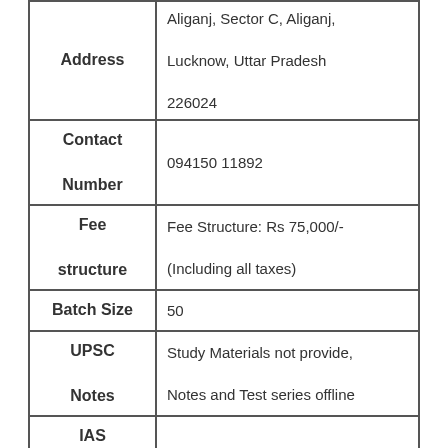| Field | Value |
| --- | --- |
| Address | Aliganj, Sector C, Aliganj, Lucknow, Uttar Pradesh 226024 |
| Contact Number | 094150 11892 |
| Fee structure | Fee Structure: Rs 75,000/- (Including all taxes) |
| Batch Size | 50 |
| UPSC Notes | Study Materials not provide, Notes and Test series offline |
| IAS |  |